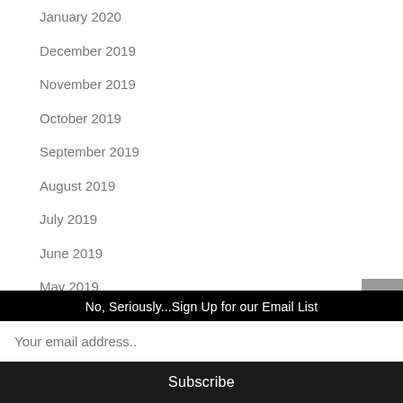January 2020
December 2019
November 2019
October 2019
September 2019
August 2019
July 2019
June 2019
May 2019
April 2019
March 2019
February 2019
No, Seriously...Sign Up for our Email List
Your email address..
Subscribe